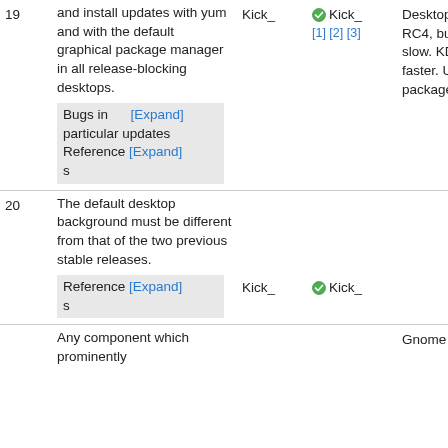| # | Description | Owner | Status | Notes |
| --- | --- | --- | --- | --- |
| 19 | and install updates with yum and with the default graphical package manager in all release-blocking desktops.
Bugs in particular updates
References
s | Kick_ | ✓ Kick_
[1] [2] [3] | Desktop works in Alpha-RC4, but is very, very slow. KDE is much faster. Updating packages works, too. |
| 20 | The default desktop background must be different from that of the two previous stable releases.
References
s | Kick_ | ✓ Kick_ |  |
|  | Any component which prominently |  |  | Gnome desktop did |